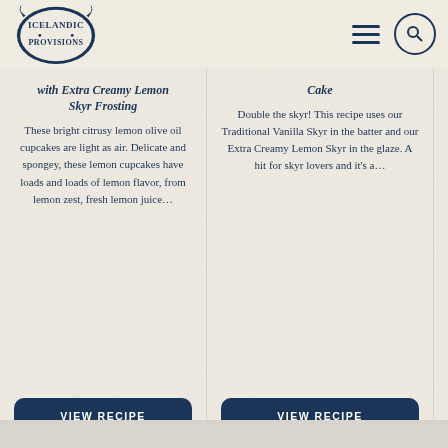[Figure (logo): Icelandic Provisions logo with Viking ship horn decorations]
with Extra Creamy Lemon Skyr Frosting
These bright citrusy lemon olive oil cupcakes are light as air. Delicate and spongey, these lemon cupcakes have loads and loads of lemon flavor, from lemon zest, fresh lemon juice...
VIEW RECIPE
Cake
Double the skyr! This recipe uses our Traditional Vanilla Skyr in the batter and our Extra Creamy Lemon Skyr in the glaze. A hit for skyr lovers and it's a...
VIEW RECIPE
This i the Lemo make i up